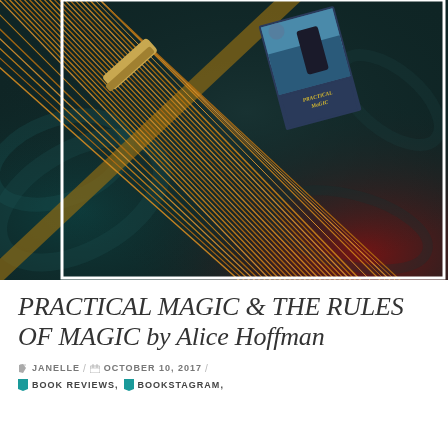[Figure (photo): Photo of a golden/orange broom with bristles splayed diagonally across a dark teal and black shiny background, with a book cover for 'Practical Magic' visible in the upper right corner of the image.]
PRACTICAL MAGIC & THE RULES OF MAGIC by Alice Hoffman
JANELLE / OCTOBER 10, 2017 /
BOOK REVIEWS, BOOKSTAGRAM,